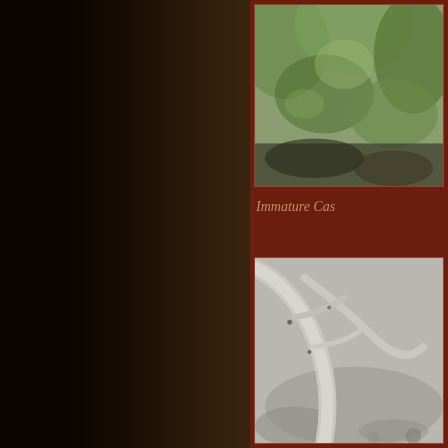[Figure (photo): Dark gradient background, brownish-black tones fading left to right, part of a nature/wildlife book page layout]
[Figure (photo): Top right photo showing blurred green foliage/vegetation background - immature Caspian tern or similar bird photo, partially cropped]
Immature Cas
[Figure (photo): Bottom right photo showing driftwood or twisted branches in black and white tones with blurred background]